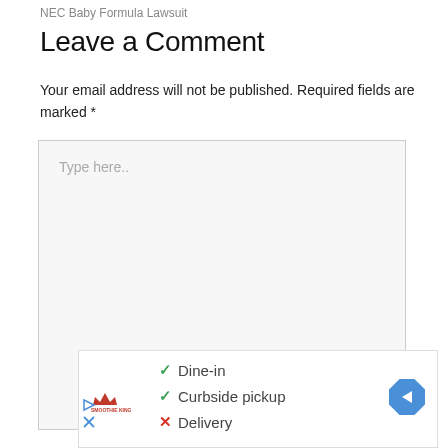NEC Baby Formula Lawsuit
Leave a Comment
Your email address will not be published. Required fields are marked *
[Figure (screenshot): Large text input textarea with placeholder text 'Type here..' on a light gray background with a border]
[Figure (infographic): Advertisement box showing Smoothie King options: checkmark Dine-in, checkmark Curbside pickup, X Delivery, with navigation arrow icon and ad attribution icons]